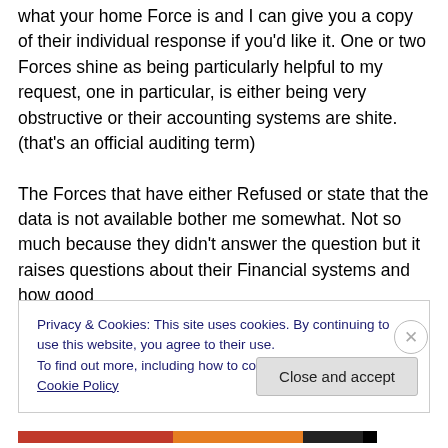what your home Force is and I can give you a copy of their individual response if you'd like it. One or two Forces shine as being particularly helpful to my request, one in particular, is either being very obstructive or their accounting systems are shite. (that's an official auditing term)

The Forces that have either Refused or state that the data is not available bother me somewhat. Not so much because they didn't answer the question but it raises questions about their Financial systems and how good
Privacy & Cookies: This site uses cookies. By continuing to use this website, you agree to their use.
To find out more, including how to control cookies, see here: Cookie Policy
Close and accept